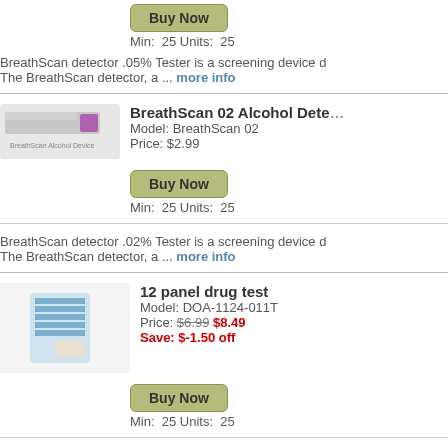[Figure (other): Buy Now button with Min 25 Units 25 below]
BreathScan detector .05% Tester is a screening device d... The BreathScan detector, a ... more info
[Figure (photo): BreathScan 02 Alcohol Detector product image]
BreathScan 02 Alcohol Dete... Model: BreathScan 02 Price: $2.99
[Figure (other): Buy Now button with Min 25 Units 25 below]
BreathScan detector .02% Tester is a screening device d... The BreathScan detector, a ... more info
[Figure (photo): 12 panel drug test product image]
12 panel drug test Model: DOA-1124-011T Price: $6.99 $8.49 Save: $-1.50 off
[Figure (other): Buy Now button with Min 25 Units 25 below]
12-Substance Drug Test Combination of commonly teste... BAR BZO Marijuana - THC, Hash, Pot, Cannabis, ... more
[Figure (photo): Oxycodone Drug Test Cassette product image]
Oxycodone Drug Test Casse... Model: i-DOX-102